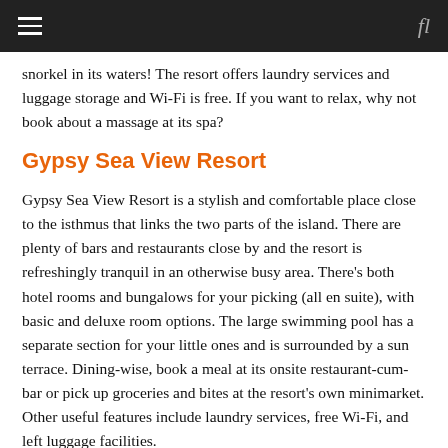≡   fl
snorkel in its waters! The resort offers laundry services and luggage storage and Wi-Fi is free. If you want to relax, why not book about a massage at its spa?
Gypsy Sea View Resort
Gypsy Sea View Resort is a stylish and comfortable place close to the isthmus that links the two parts of the island. There are plenty of bars and restaurants close by and the resort is refreshingly tranquil in an otherwise busy area. There's both hotel rooms and bungalows for your picking (all en suite), with basic and deluxe room options. The large swimming pool has a separate section for your little ones and is surrounded by a sun terrace. Dining-wise, book a meal at its onsite restaurant-cum-bar or pick up groceries and bites at the resort's own minimarket. Other useful features include laundry services, free Wi-Fi, and left luggage facilities.